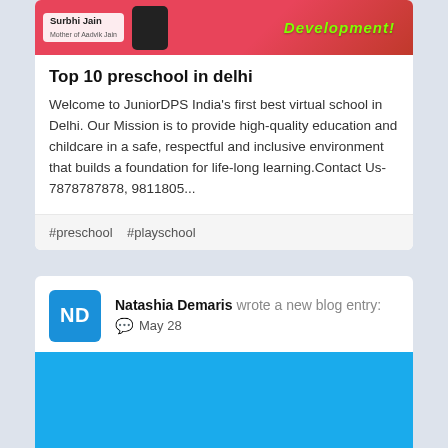[Figure (photo): Promotional banner with red/pink background showing a person's name badge 'Surbhi Jain, Mother of Aadvik Jain', a smartphone icon, and bold italic green text 'Development!']
Top 10 preschool in delhi
Welcome to JuniorDPS India's first best virtual school in Delhi. Our Mission is to provide high-quality education and childcare in a safe, respectful and inclusive environment that builds a foundation for life-long learning.Contact Us- 7878787878, 9811805...
#preschool   #playschool
Natashia Demaris wrote a new blog entry:
May 28
[Figure (photo): Solid blue rectangle image block]